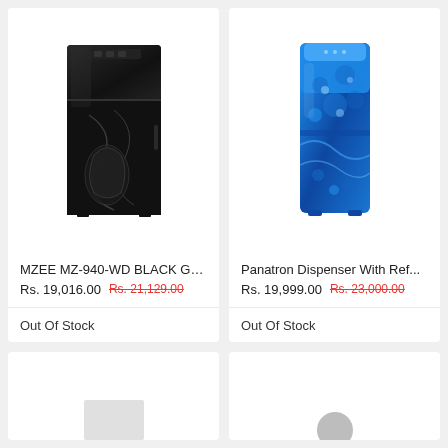[Figure (photo): MZEE MZ-940-WD BLACK GL refrigerator product image — black glass front refrigerator]
MZEE MZ-940-WD BLACK GL...
Rs. 19,016.00  Rs. 21,129.00
Out Of Stock
[Figure (photo): Panatron Dispenser With Ref product image — blue floral patterned water dispenser/refrigerator]
Panatron Dispenser With Ref...
Rs. 19,999.00  Rs. 23,000.00
Out Of Stock